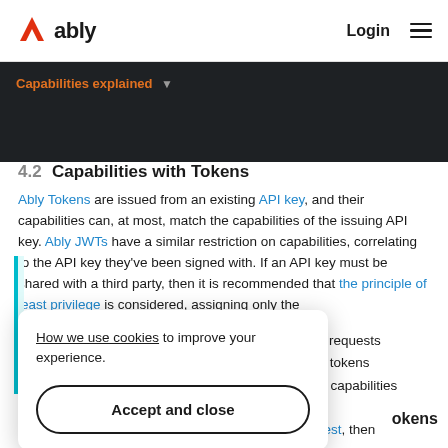ably  Login
Capabilities explained
4.2 Capabilities with Tokens
Ably Tokens are issued from an existing API key, and their capabilities can, at most, match the capabilities of the issuing API key. Ably JWTs have a similar restriction on capabilities, correlating to the API key they've been signed with. If an API key must be shared with a third party, then it is recommended that the principle of least privilege is considered, assigning only the ...ably requests ...ble tokens ...the capabilities
How we use cookies to improve your experience.
Accept and close
...okens
If no capability is specified in the Ably TokenRequest, then